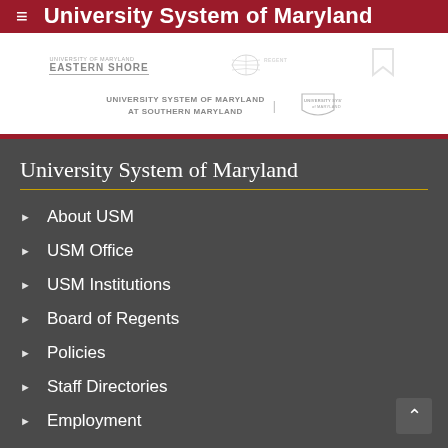≡ University System of Maryland
[Figure (logo): University of Maryland Eastern Shore logo (top-left), partially visible globe/campus logo (top-center), partially visible bookmark/ribbon logo (top-right), University System of Maryland at Southern Maryland logo with USM shield (center)]
University System of Maryland
About USM
USM Office
USM Institutions
Board of Regents
Policies
Staff Directories
Employment